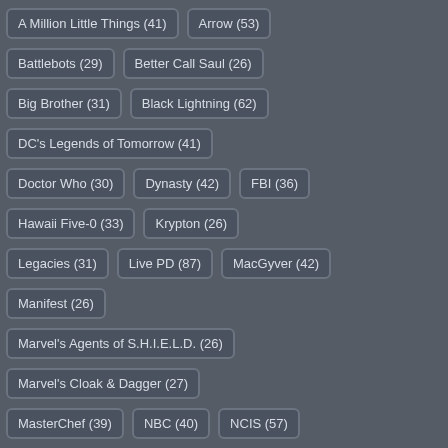A Million Little Things (41)
Arrow (53)
Battlebots (29)
Better Call Saul (26)
Big Brother (31)
Black Lightning (62)
DC's Legends of Tomorrow (41)
Doctor Who (30)
Dynasty (42)
FBI (36)
Hawaii Five-0 (33)
Krypton (26)
Legacies (31)
Live PD (87)
MacGyver (42)
Manifest (26)
Marvel's Agents of S.H.I.E.L.D. (26)
Marvel's Cloak & Dagger (27)
MasterChef (39)
NBC (40)
NCIS (57)